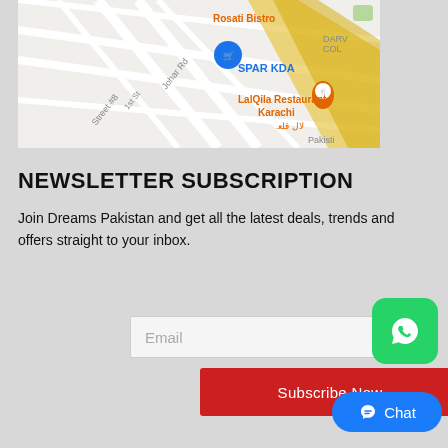[Figure (map): Google Maps screenshot showing area around LalQila Restaurant Karachi, SPAR KDA, Rosati Bistro, street labels including Johar Rd, 1st St, Street #8]
NEWSLETTER SUBSCRIPTION
Join Dreams Pakistan and get all the latest deals, trends and offers straight to your inbox.
[Figure (screenshot): Email input field with placeholder text 'Email']
[Figure (screenshot): Subscribe Now red button]
[Figure (logo): WhatsApp green button icon]
[Figure (screenshot): Blue Messenger Chat button]